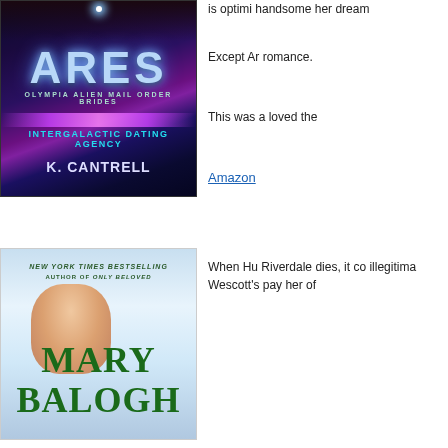[Figure (photo): Book cover for 'Ares' by K. Cantrell - Olympia Alien Mail Order Brides, Intergalactic Dating Agency. Dark sci-fi cover with purple cosmic background and glowing text.]
is optimi handsome her dream
Except Ar romance.
This was a loved the
Amazon
[Figure (photo): Book cover for a Mary Balogh novel. New York Times Bestselling Author of Only Beloved. Features a woman with dark hair looking down against a sky background.]
When Hu Riverdale dies, it co illegitima Wescott's pay her of